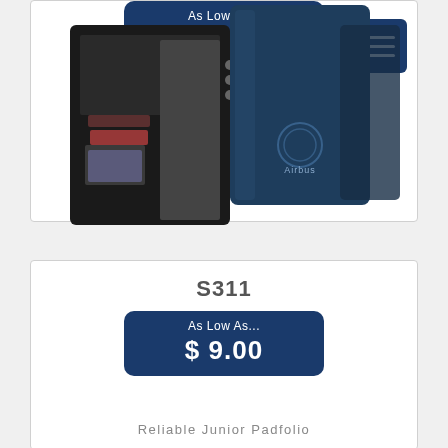[Figure (photo): Price badge showing 'As Low As... $ 9.00' on dark navy rounded rectangle background]
Serenity Junior Zipper Padfolio
[Figure (photo): Two navy blue junior padfolios shown open and closed, with card slots and Airbus branding visible]
S311
[Figure (other): Price badge showing 'As Low As... $ 9.00' on dark navy rounded rectangle background]
Reliable Junior Padfolio